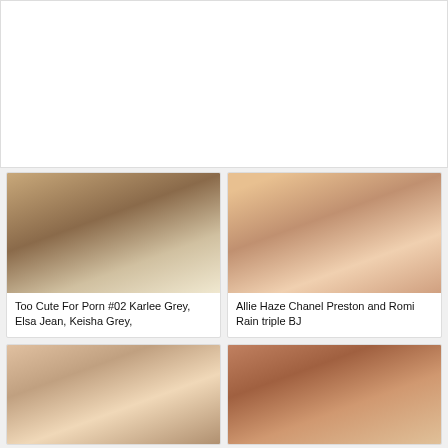[Figure (photo): Large top banner image, mostly white/blank area with border]
[Figure (photo): Too Cute For Porn #02 thumbnail - adult content]
Too Cute For Porn #02 Karlee Grey, Elsa Jean, Keisha Grey,
[Figure (photo): Allie Haze Chanel Preston and Romi Rain triple BJ thumbnail - adult content]
Allie Haze Chanel Preston and Romi Rain triple BJ
[Figure (photo): Bottom left thumbnail - adult content]
[Figure (photo): Bottom right thumbnail - adult content]